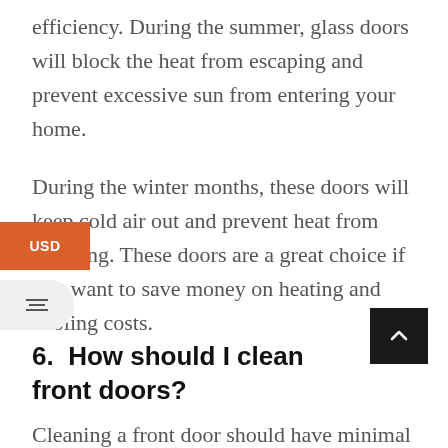efficiency. During the summer, glass doors will block the heat from escaping and prevent excessive sun from entering your home.
During the winter months, these doors will keep cold air out and prevent heat from escaping. These doors are a great choice if you want to save money on heating and cooling costs.
6.  How should I clean front doors?
Cleaning a front door should have minimal